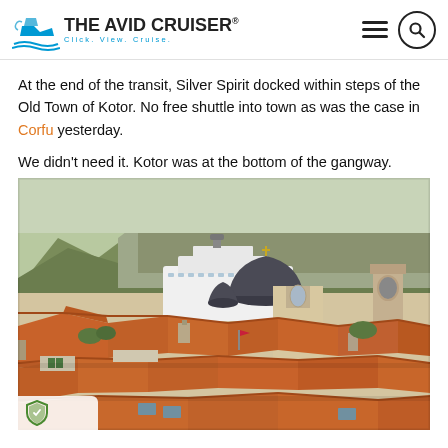THE AVID CRUISER® — Click. View. Cruise.
At the end of the transit, Silver Spirit docked within steps of the Old Town of Kotor. No free shuttle into town as was the case in Corfu yesterday. We didn't need it. Kotor was at the bottom of the gangway.
[Figure (photo): Aerial/elevated view of Kotor Old Town rooftops with terracotta tiles, cathedral domes, and a cruise ship visible behind the buildings against a rocky mountain backdrop.]